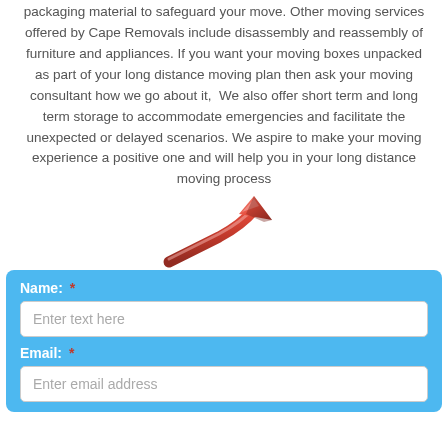packaging material to safeguard your move. Other moving services offered by Cape Removals include disassembly and reassembly of furniture and appliances. If you want your moving boxes unpacked as part of your long distance moving plan then ask your moving consultant how we go about it,  We also offer short term and long term storage to accommodate emergencies and facilitate the unexpected or delayed scenarios. We aspire to make your moving experience a positive one and will help you in your long distance moving process
[Figure (illustration): A red curved arrow pointing upward and to the right, rendered as a 3D glossy red arrow graphic.]
Name: *
Enter text here
Email: *
Enter email address